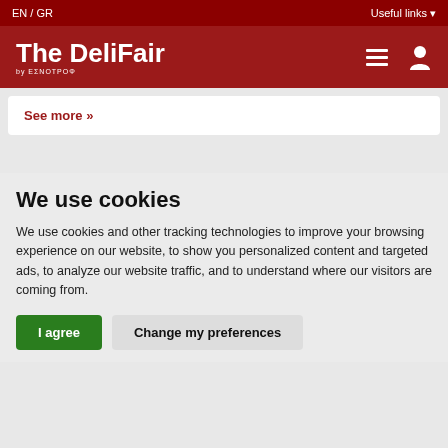EN / GR | Useful links
The DeliFair by ESNOTROФ
See more »
We use cookies
We use cookies and other tracking technologies to improve your browsing experience on our website, to show you personalized content and targeted ads, to analyze our website traffic, and to understand where our visitors are coming from.
I agree | Change my preferences